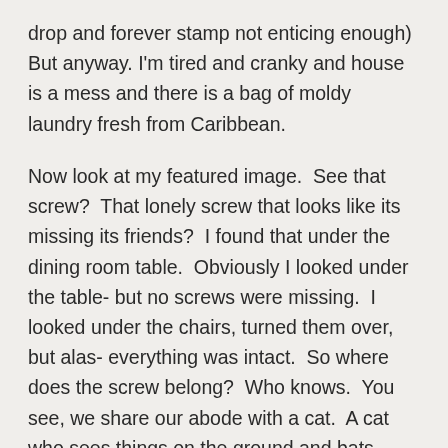drop and forever stamp not enticing enough) But anyway. I'm tired and cranky and house is a mess and there is a bag of moldy laundry fresh from Caribbean.
Now look at my featured image.  See that screw?  That lonely screw that looks like its missing its friends?  I found that under the dining room table.  Obviously I looked under the table- but no screws were missing.  I looked under the chairs, turned them over, but alas- everything was intact.  So where does the screw belong?  Who knows.  You see, we share our abode with a cat.  A cat who sees things on the ground and bats them around.  So the screw could literally belong to any piece of furniture in the house.  From any room. I've been wandering around my small, sparsely furnished apartment in search of the hole where this screw